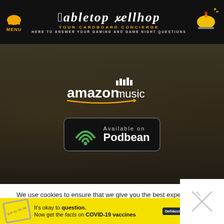Tabletop Bellhop - Your Cardboard Concierge - Here to answer your gaming and game night questions
[Figure (screenshot): Amazon Music logo on dark background]
[Figure (screenshot): Available on Podbean button with WiFi icon]
We use cookies to ensure that we give you the best experience on Tabletop Bellhop. If you continue to use this site we will assume that you are happy with it.
It's okay to question. Now get the facts on COVID-19 vaccines GetVaccineAnswers.org